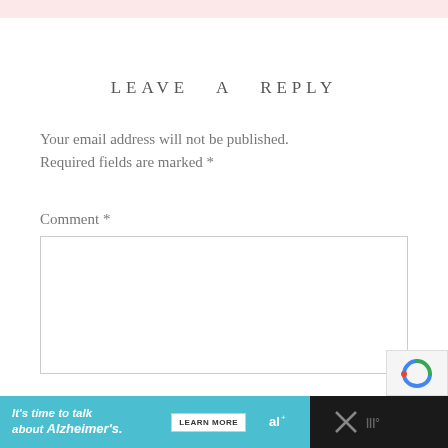LEAVE A REPLY
Your email address will not be published. Required fields are marked *
Comment *
[Figure (other): Comment text area input box (empty)]
[Figure (other): reCAPTCHA badge in bottom right corner]
It's time to talk about Alzheimer's. LEARN MORE [Alzheimer's Association advertisement banner]